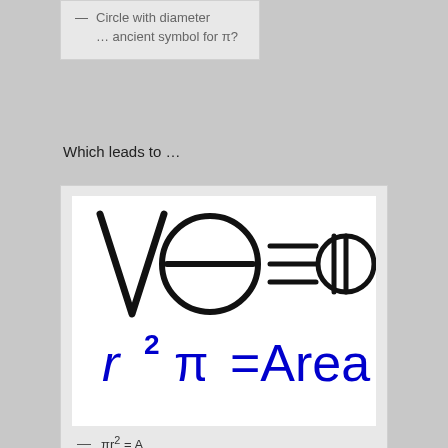— Circle with diameter … ancient symbol for π?
Which leads to …
[Figure (illustration): Handwritten symbols showing V, theta (circle with horizontal line), equals, three horizontal lines, circle with two vertical lines; below in blue: r² π =Area]